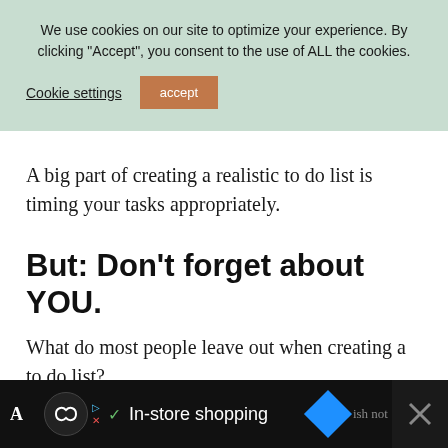We use cookies on our site to optimize your experience. By clicking “Accept”, you consent to the use of ALL the cookies.
Cookie settings  accept
A big part of creating a realistic to do list is timing your tasks appropriately.
But: Don’t forget about YOU.
What do most people leave out when creating a to do list?
A  ✓ In-store shopping  ish not